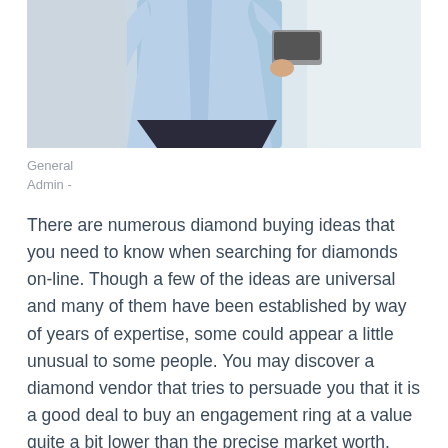[Figure (photo): A man in a light blue shirt holding a laptop, standing against a blurred light background. Only the torso and lower portion of the body are visible, cropped at the head.]
General
Admin -
There are numerous diamond buying ideas that you need to know when searching for diamonds on-line. Though a few of the ideas are universal and many of them have been established by way of years of expertise, some could appear a little unusual to some people. You may discover a diamond vendor that tries to persuade you that it is a good deal to buy an engagement ring at a value quite a bit lower than the precise market worth.